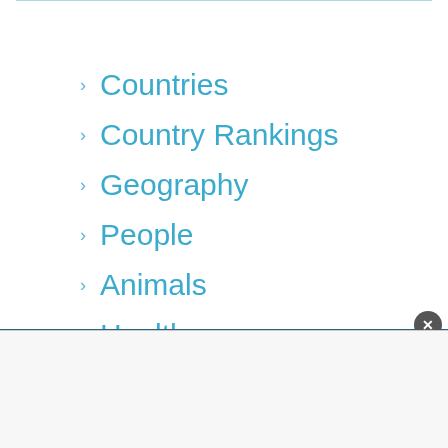Countries
Country Rankings
Geography
People
Animals
Health
City
Q & A